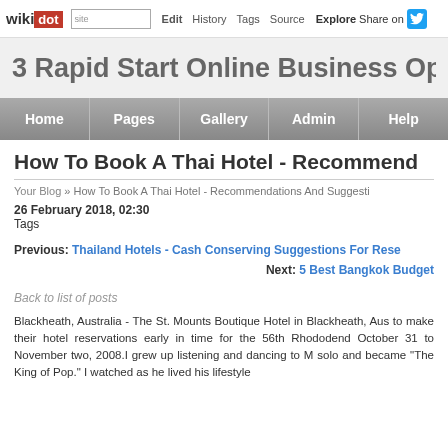wikidot | site | Edit | History | Tags | Source | Explore | Share on Twitter
3 Rapid Start Online Business Op
Home | Pages | Gallery | Admin | Help
How To Book A Thai Hotel - Recommend
Your Blog » How To Book A Thai Hotel - Recommendations And Suggesti
26 February 2018, 02:30
Tags
Previous: Thailand Hotels - Cash Conserving Suggestions For Rese
Next: 5 Best Bangkok Budget
Back to list of posts
Blackheath, Australia - The St. Mounts Boutique Hotel in Blackheath, Aus to make their hotel reservations early in time for the 56th Rhododend October 31 to November two, 2008.I grew up listening and dancing to M solo and became "The King of Pop." I watched as he lived his lifestyle